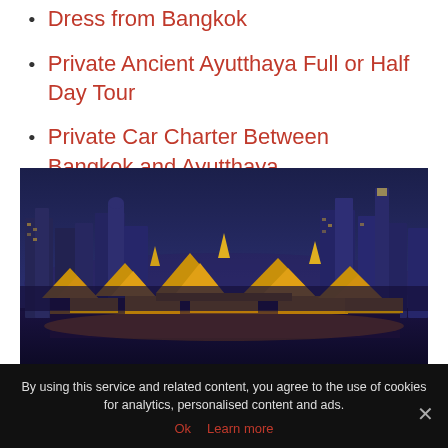Dress from Bangkok
Private Ancient Ayutthaya Full or Half Day Tour
Private Car Charter Between Bangkok and Ayutthaya.
[Figure (photo): Night cityscape of Bangkok showing illuminated Grand Palace temples in the foreground with modern skyscrapers in the background against a deep blue twilight sky]
By using this service and related content, you agree to the use of cookies for analytics, personalised content and ads.
Ok  Learn more